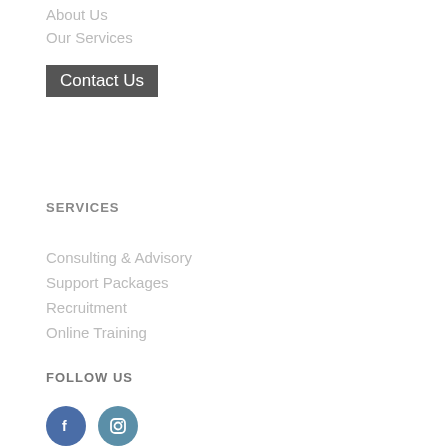About Us
Our Services
Contact Us
SERVICES
Consulting & Advisory
Support Packages
Recruitment
Online Training
FOLLOW US
[Figure (illustration): Facebook and Instagram circular social media icons in blue tones]